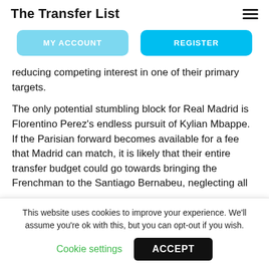The Transfer List
[Figure (other): Navigation buttons: MY ACCOUNT and REGISTER]
reducing competing interest in one of their primary targets.
The only potential stumbling block for Real Madrid is Florentino Perez's endless pursuit of Kylian Mbappe. If the Parisian forward becomes available for a fee that Madrid can match, it is likely that their entire transfer budget could go towards bringing the Frenchman to the Santiago Bernabeu, neglecting all
This website uses cookies to improve your experience. We'll assume you're ok with this, but you can opt-out if you wish.
Cookie settings
ACCEPT